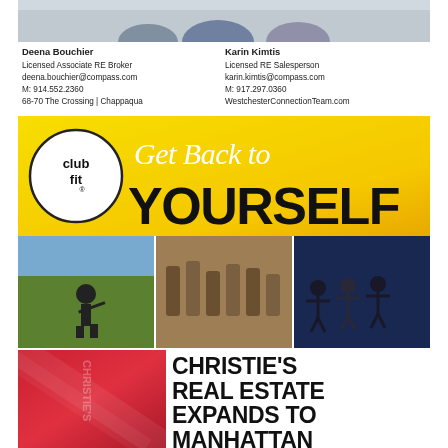[Figure (photo): Cropped photo of two people (agents) seated, top portion only visible]
Deena Bouchier
Licensed Associate RE Broker
deena.bouchier@compass.com
M: 914.552.2360
68-70 The Crossing | Chappaqua
Karin Kimtis
Licensed RE Salesperson
karin.kimtis@compass.com
M: 917.297.0360
WestchesterConnectionTeam.com
[Figure (infographic): Club Fit advertisement with yellow background, circular club fit logo, script text 'Get Back to' and bold text 'YOURSELF']
[Figure (photo): Three photos side by side: person playing tennis outdoors, gym equipment/machines, yoga class with multiple people]
[Figure (photo): Christie's red branded panel with Christie's text repeated vertically]
CHRISTIE'S REAL ESTATE EXPANDS TO MANHATTAN